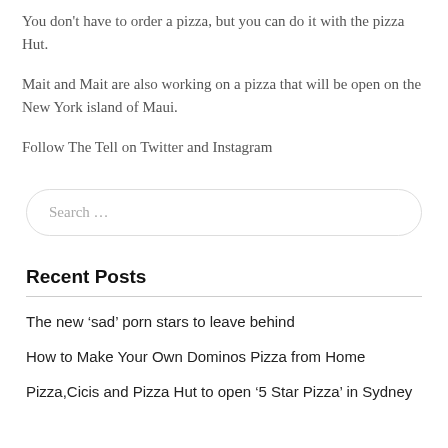You don't have to order a pizza, but you can do it with the pizza Hut.
Mait and Mait are also working on a pizza that will be open on the New York island of Maui.
Follow The Tell on Twitter and Instagram
Search …
Recent Posts
The new 'sad' porn stars to leave behind
How to Make Your Own Dominos Pizza from Home
Pizza,Cicis and Pizza Hut to open '5 Star Pizza' in Sydney